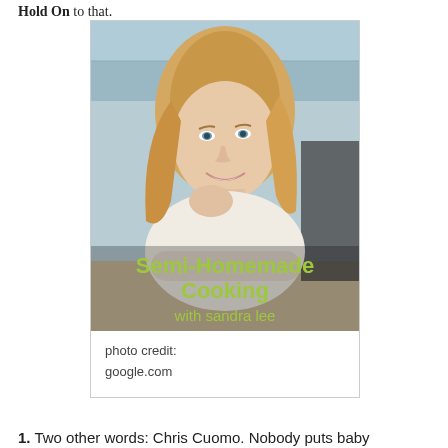Hold On to that.
[Figure (photo): Cover image of Semi-Homemade Cooking with Sandra Lee TV show. A blonde woman in a white top leans on a kitchen counter smiling at the camera. The show title 'Semi-Homemade Cooking with sandra lee' appears in yellow-green text at the bottom of the image.]
photo credit:
google.com
1. Two other words: Chris Cuomo. Nobody puts baby